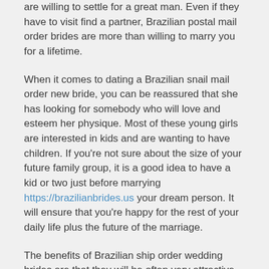are willing to settle for a great man. Even if they have to visit find a partner, Brazilian postal mail order brides are more than willing to marry you for a lifetime.
When it comes to dating a Brazilian snail mail order new bride, you can be reassured that she has looking for somebody who will love and esteem her physique. Most of these young girls are interested in kids and are wanting to have children. If you’re not sure about the size of your future family group, it is a good idea to have a kid or two just before marrying https://brazilianbrides.us your dream person. It will ensure that you’re happy for the rest of your daily life plus the future of the marriage.
The benefits of Brazilian ship order wedding brides are that they will be often very attractive and easy currently. They have a strong desire for sexual activity, but don’t let her overshadow your desires. If you need a woman who is different from everyone else, consider a Brazilian mail